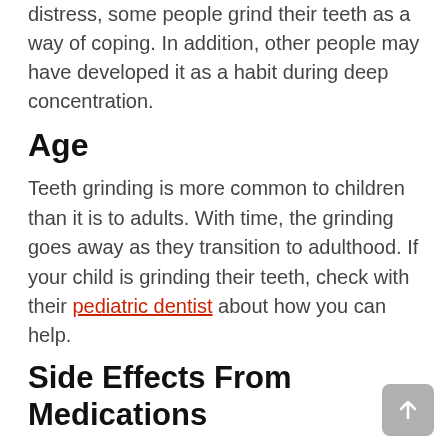distress, some people grind their teeth as a way of coping. In addition, other people may have developed it as a habit during deep concentration.
Age
Teeth grinding is more common to children than it is to adults. With time, the grinding goes away as they transition to adulthood. If your child is grinding their teeth, check with their pediatric dentist about how you can help.
Side Effects From Medications
In some cases, teeth grinding may be caused by side effects of psychiatric medications such as antdepressants. Smoking, drinking caffeinated drinks, and drug abuse can also be the cause of teeth grinding.